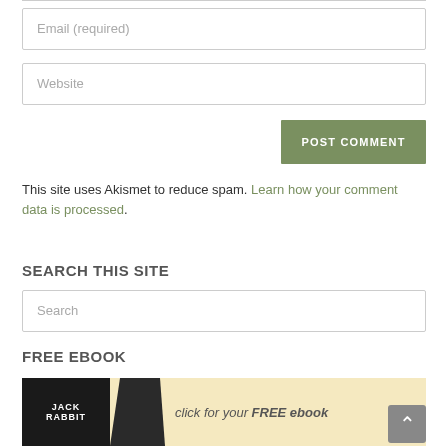Email (required)
Website
POST COMMENT
This site uses Akismet to reduce spam. Learn how your comment data is processed.
SEARCH THIS SITE
Search
FREE EBOOK
[Figure (illustration): Jackrabbit free ebook banner with dark logo on left and text 'click for your FREE ebook']